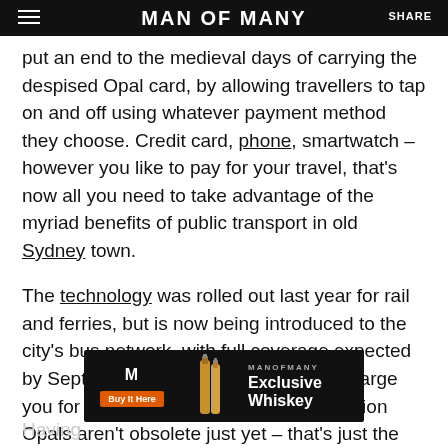MAN OF MANY
put an end to the medieval days of carrying the despised Opal card, by allowing travellers to tap on and off using whatever payment method they choose. Credit card, phone, smartwatch – however you like to pay for your travel, that's now all you need to take advantage of the myriad benefits of public transport in old Sydney town.
The technology was rolled out last year for rail and ferries, but is now being introduced to the city's bus network, with full coverage expected by September. Initially, the tap-on will charge you for one single adult fare, so concession Opals aren't obsolete just yet – that's just the price you pay for being a concession I guess.
[Figure (other): Advertisement banner for MAN OF MANY Exclusive Whiskey with a Buy It Here button and whiskey bottle images]
Having